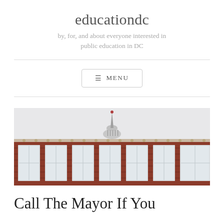educationdc
by, for, and about everyone interested in public education in DC
[Figure (photo): Exterior photograph of a red brick school or civic building with white-framed windows and a white cupola or bell tower visible above the roofline, against a pale grey sky.]
Call The Mayor If You